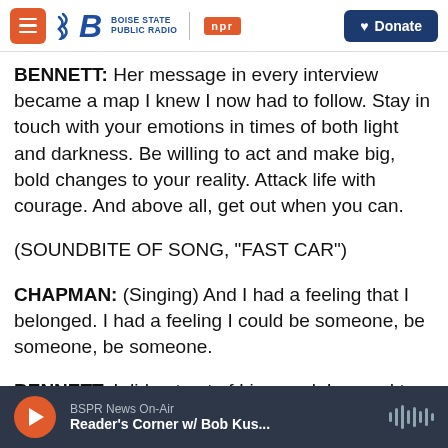Boise State Public Radio | NPR | Donate
BENNETT: Her message in every interview became a map I knew I now had to follow. Stay in touch with your emotions in times of both light and darkness. Be willing to act and make big, bold changes to your reality. Attack life with courage. And above all, get out when you can.
(SOUNDBITE OF SONG, "FAST CAR")
CHAPMAN: (Singing) And I had a feeling that I belonged. I had a feeling I could be someone, be someone, be someone.
BENNETT: I did get out of Liverpool. I moved to
BSPR News On-Air | Reader's Corner w/ Bob Kus...